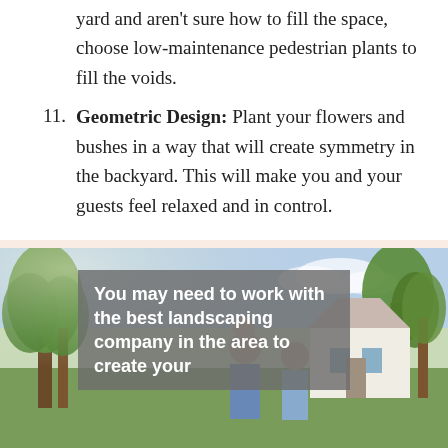yard and aren't sure how to fill the space, choose low-maintenance pedestrian plants to fill the voids.
11. Geometric Design: Plant your flowers and bushes in a way that will create symmetry in the backyard. This will make you and your guests feel relaxed and in control.
[Figure (photo): Outdoor photo of a family with trees and a house in the background, with a grey semi-transparent overlay containing text: 'You may need to work with the best landscaping company in the area to create your']